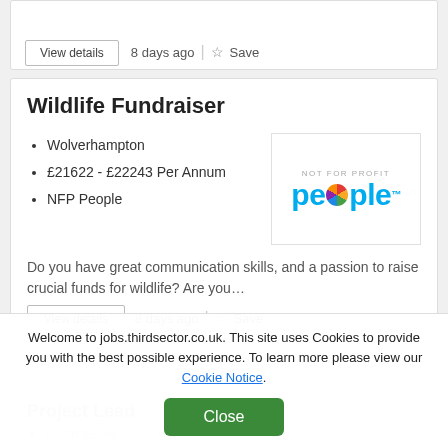View details    8 days ago   Save
Wildlife Fundraiser
Wolverhampton
£21622 - £22243 Per Annum
NFP People
[Figure (logo): NFP People logo — not for profit people with colourful circular O]
Do you have great communication skills, and a passion to raise crucial funds for wildlife? Are you…
View details    8 days ago   Save
Welcome to jobs.thirdsector.co.uk. This site uses Cookies to provide you with the best possible experience. To learn more please view our Cookie Notice.
Close
Project Lead
South Essex